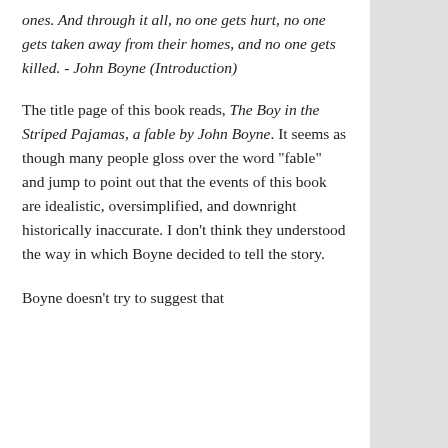ones. And through it all, no one gets hurt, no one gets taken away from their homes, and no one gets killed. - John Boyne (Introduction)
The title page of this book reads, The Boy in the Striped Pajamas, a fable by John Boyne. It seems as though many people gloss over the word "fable" and jump to point out that the events of this book are idealistic, oversimplified, and downright historically inaccurate. I don't think they understood the way in which Boyne decided to tell the story.
Boyne doesn't try to suggest that